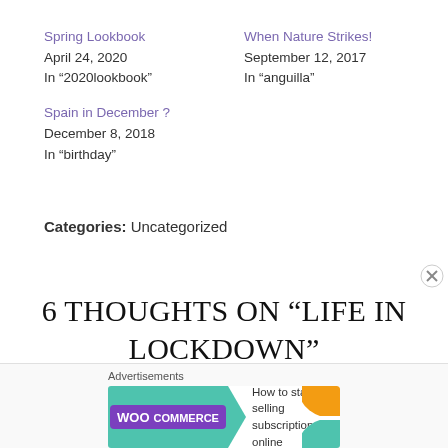Spring Lookbook
April 24, 2020
In "2020lookbook"
When Nature Strikes!
September 12, 2017
In "anguilla"
Spain in December ?
December 8, 2018
In "birthday"
Categories: Uncategorized
6 THOUGHTS ON “LIFE IN LOCKDOWN”
[Figure (screenshot): WooCommerce advertisement banner: 'How to start selling subscriptions online']